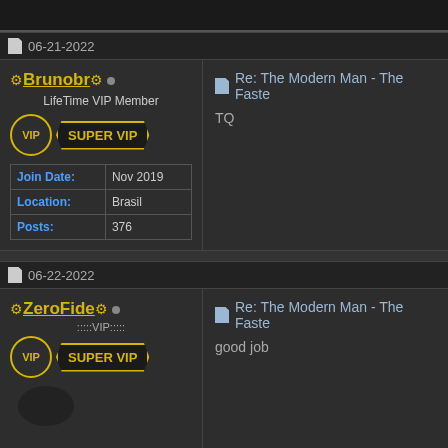06-21-2022
Brunobr · LifeTime VIP Member · VIP · SUPER VIP
| Field | Value |
| --- | --- |
| Join Date: | Nov 2019 |
| Location: | Brasil |
| Posts: | 376 |
Re: The Modern Man - The Faste
TQ
06-22-2022
ZeroFide · ::::VIP:::: · VIP · SUPER VIP
Re: The Modern Man - The Faste
good job